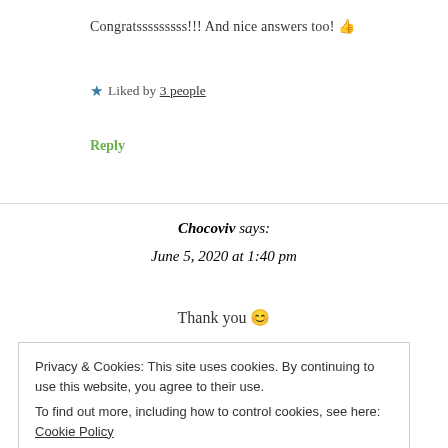Congratsssssssss!!! And nice answers too! 👍
★ Liked by 3 people
Reply
Chocoviv says: June 5, 2020 at 1:40 pm
Thank you 😊
Privacy & Cookies: This site uses cookies. By continuing to use this website, you agree to their use.
To find out more, including how to control cookies, see here: Cookie Policy
Close and accept